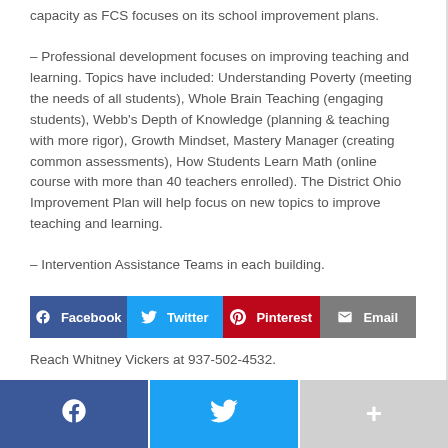capacity as FCS focuses on its school improvement plans.
– Professional development focuses on improving teaching and learning. Topics have included: Understanding Poverty (meeting the needs of all students), Whole Brain Teaching (engaging students), Webb's Depth of Knowledge (planning & teaching with more rigor), Growth Mindset, Mastery Manager (creating common assessments), How Students Learn Math (online course with more than 40 teachers enrolled). The District Ohio Improvement Plan will help focus on new topics to improve teaching and learning.
– Intervention Assistance Teams in each building.
Reach Whitney Vickers at 937-502-4532.